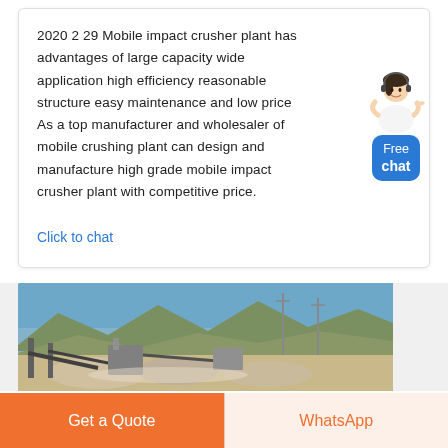2020 2 29 Mobile impact crusher plant has advantages of large capacity wide application high efficiency reasonable structure easy maintenance and low price As a top manufacturer and wholesaler of mobile crushing plant can design and manufacture high grade mobile impact crusher plant with competitive price.
Click to chat
[Figure (photo): Outdoor quarry or mining site with conveyor belts, crushers, and processing equipment in the foreground; arid hills and blue sky in the background.]
Get a Quote
WhatsApp